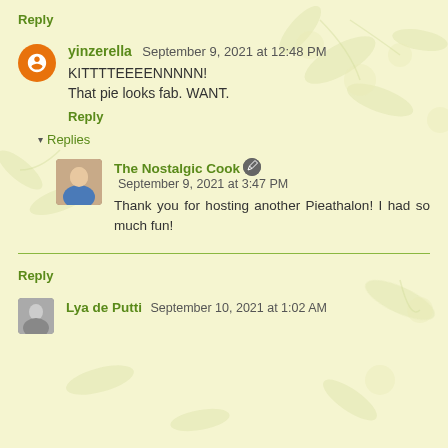Reply
yinzerella September 9, 2021 at 12:48 PM
KITTTTEEEEENNNNN!
That pie looks fab. WANT.
Reply
▾ Replies
The Nostalgic Cook September 9, 2021 at 3:47 PM
Thank you for hosting another Pieathalon! I had so much fun!
Reply
Lya de Putti September 10, 2021 at 1:02 AM